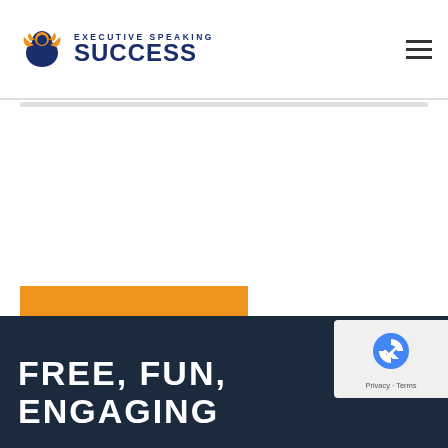Executive Speaking SUCCESS
[Figure (logo): Executive Speaking Success logo with lion icon and text]
SEND COMMENT
FREE, FUN, ENGAGING
[Figure (other): reCAPTCHA Privacy - Terms badge]